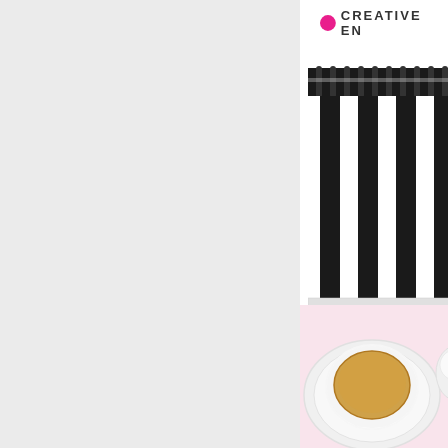[Figure (photo): Left half of page showing a light grey/white background panel occupying roughly the left 67% of the page. Right portion shows partial view of a creative branding document or cover with a pink dot logo reading 'CREATIVE EN...' (truncated), a black and white striped spiral-bound notebook viewed from above, and a white teacup with tea on a saucer placed on a pink surface.]